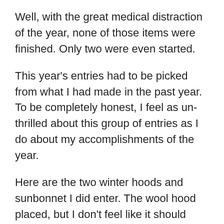Well, with the great medical distraction of the year, none of those items were finished. Only two were even started.
This year's entries had to be picked from what I had made in the past year. To be completely honest, I feel as un-thrilled about this group of entries as I do about my accomplishments of the year.
Here are the two winter hoods and sunbonnet I did enter. The wool hood placed, but I don't feel like it should have placed over another piece in the category. I'll show you that part 2. I also entered two of the crochet pieces I've been making as part of my evening relaxation. They were just to make the form feel more complete. I am not a good crocheter. I can not follow directions. Likely the stitch I used isn't even a real stitch. Buy, the Christmas hat for D...